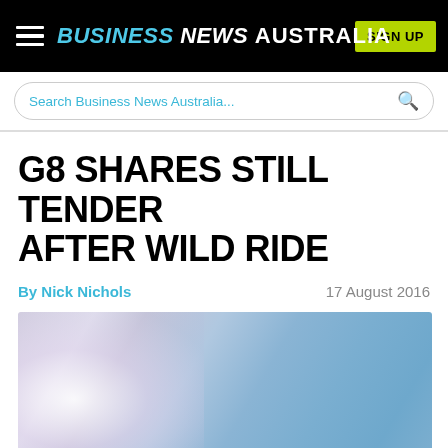BUSINESS NEWS AUSTRALIA
Search Business News Australia...
G8 SHARES STILL TENDER AFTER WILD RIDE
By Nick Nichols   17 August 2016
[Figure (photo): Blurred photo with blue and light lavender tones, appears to be an out-of-focus outdoor or portrait image]